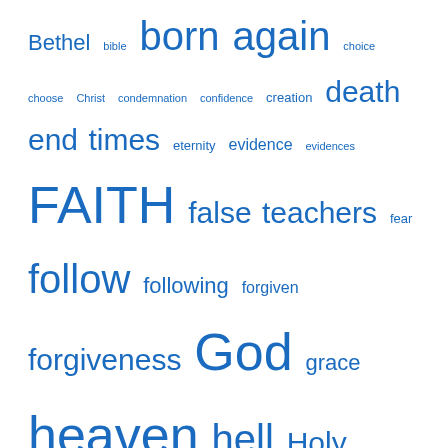Bethel bible born again choice choose Christ condemnation confidence creation death end times eternity evidence evidences FAITH false teachers fear follow following forgiven forgiveness God grace heaven hell Holy Spirit hope Jesus judgement love NAR New Apostolic Reformation (NAR) practice prayer Rapture repent repentance resurrection Salvation Satan saved sin sincerity time truth
FEATURED POST